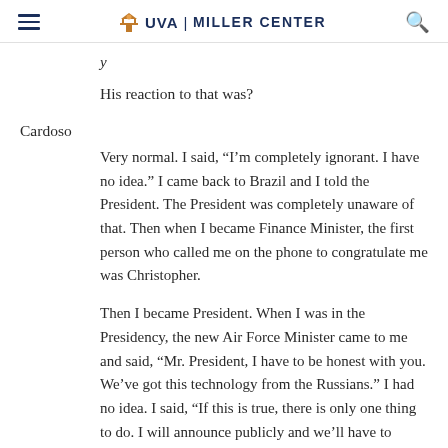UVA | MILLER CENTER
His reaction to that was?
Cardoso
Very normal. I said, “I’m completely ignorant. I have no idea.” I came back to Brazil and I told the President. The President was completely unaware of that. Then when I became Finance Minister, the first person who called me on the phone to congratulate me was Christopher.
Then I became President. When I was in the Presidency, the new Air Force Minister came to me and said, “Mr. President, I have to be honest with you. We’ve got this technology from the Russians.” I had no idea. I said, “If this is true, there is only one thing to do. I will announce publicly and we’ll have to participate in the international treaty to control—”